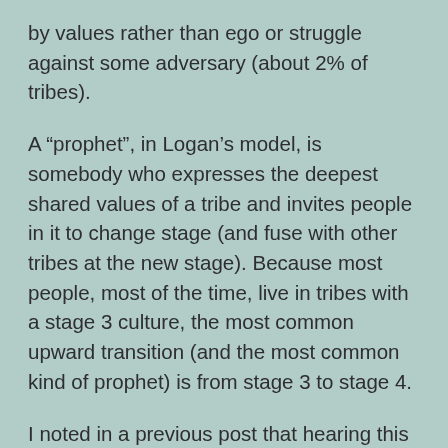by values rather than ego or struggle against some adversary (about 2% of tribes).
A “prophet”, in Logan’s model, is somebody who expresses the deepest shared values of a tribe and invites people in it to change stage (and fuse with other tribes at the new stage). Because most people, most of the time, live in tribes with a stage 3 culture, the most common upward transition (and the most common kind of prophet) is from stage 3 to stage 4.
I noted in a previous post that hearing this in a talk made the hair on the backs of my arms